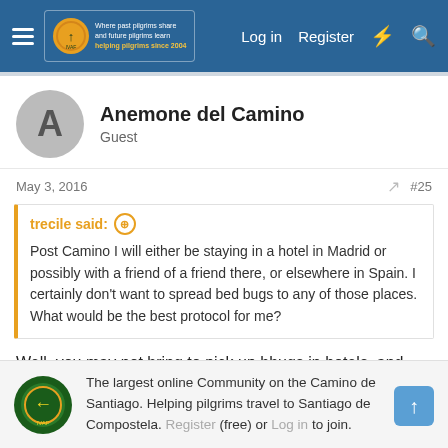Navigation bar with logo, Log in, Register links
Anemone del Camino
Guest
May 3, 2016  #25
trecile said: Post Camino I will either be staying in a hotel in Madrid or possibly with a friend of a friend there, or elsewhere in Spain. I certainly don't want to spread bed bugs to any of those places. What would be the best protocol for me?
Well, you may not bring to pick up bbugs in hotels, and even the private home. My first encounter with them was in Hong Kong, speding a week in a lovely elegant flat in Happy Valley 😲.
The largest online Community on the Camino de Santiago. Helping pilgrims travel to Santiago de Compostela. Register (free) or Log in to join.